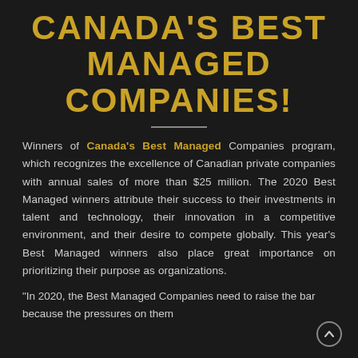CANADA'S BEST MANAGED COMPANIES!
Winners of Canada's Best Managed Companies program, which recognizes the excellence of Canadian private companies with annual sales of more than $25 million. The 2020 Best Managed winners attribute their success to their investments in talent and technology, their innovation in a competitive environment, and their desire to compete globally. This year's Best Managed winners also place great importance on prioritizing their purpose as organizations.
"In 2020, the Best Managed Companies need to raise the bar because the pressures on them...